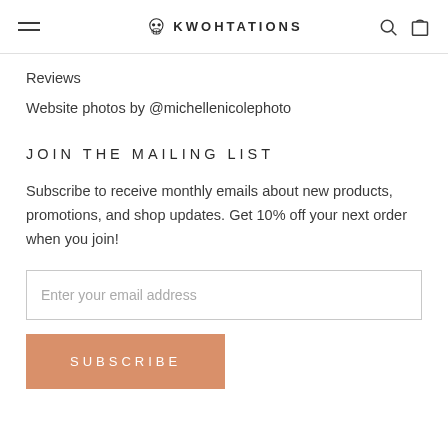KWOHTATIONS
Reviews
Website photos by @michellenicolephoto
JOIN THE MAILING LIST
Subscribe to receive monthly emails about new products, promotions, and shop updates. Get 10% off your next order when you join!
Enter your email address
SUBSCRIBE